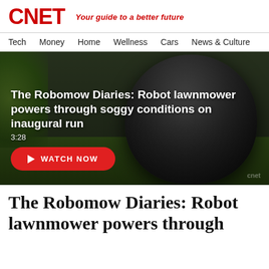CNET — Your guide to a better future
Tech
Money
Home
Wellness
Cars
News & Culture
[Figure (screenshot): Video thumbnail showing a robot lawnmower (Robomow) being lifted, with grass and garden background. Overlay text reads: 'The Robomow Diaries: Robot lawnmower powers through soggy conditions on inaugural run', duration '3:28', and a red WATCH NOW button.]
The Robomow Diaries: Robot lawnmower powers through